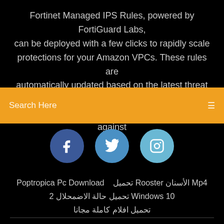Fortinet Managed IPS Rules, powered by FortiGuard Labs, can be deployed with a few clicks to rapidly scale protections for your Amazon VPCs. These rules are automatically updated based on the latest threat research, so you have the most up-to-date protections against
Search Here
[Figure (illustration): Social media icons: Facebook (f), Twitter (bird), Instagram (camera) in circular buttons]
Poptropica Pc Download   تحميل Rooster الأسنان Mp4
تحميل حالة الاضمحلال 2 Windows 10
تحميل افلام كاملة مجانا